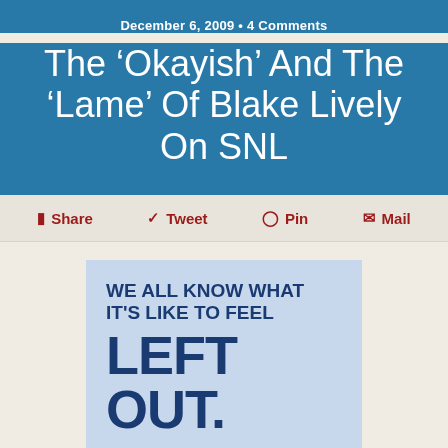December 6, 2009 • 4 Comments
The 'Okayish' And The 'Lame' Of Blake Lively On SNL
Share  Tweet  Pin  Mail
[Figure (infographic): Advertisement banner with light blue background. Large bold text reads: 'WE ALL KNOW WHAT IT'S LIKE TO FEEL LEFT OUT.' with a dark blue button below reading '> WE CAN CHANGE THAT']